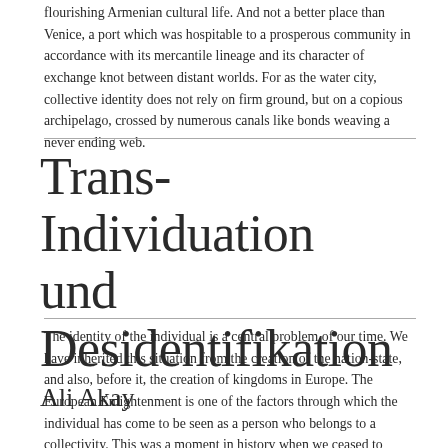flourishing Armenian cultural life. And not a better place than Venice, a port which was hospitable to a prosperous community in accordance with its mercantile lineage and its character of exchange knot between distant worlds. For as the water city, collective identity does not rely on firm ground, but on a copious archipelago, crossed by numerous canals like bonds weaving a never ending web.
Trans-Individuation und Desidentifikation
Ali Akay
The identity of the individual is a central problem of our time. We have inherited this situation from the creation of the nation-state, and also, before it, the creation of kingdoms in Europe. The European Enlightenment is one of the factors through which the individual has come to be seen as a person who belongs to a collectivity. This was a moment in history when we ceased to speak of “geography, latitudes and longitudes”, and began to speak of politics in new terms, in which